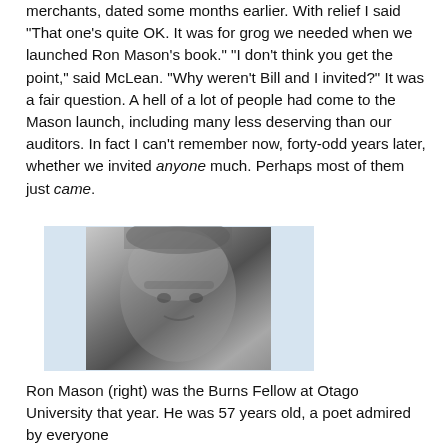merchants, dated some months earlier. With relief I said "That one's quite OK. It was for grog we needed when we launched Ron Mason's book." "I don't think you get the point," said McLean. "Why weren't Bill and I invited?" It was a fair question. A hell of a lot of people had come to the Mason launch, including many less deserving than our auditors. In fact I can't remember now, forty-odd years later, whether we invited anyone much. Perhaps most of them just came.
[Figure (photo): Black and white portrait photograph of a middle-aged man with tousled hair, looking directly at camera with an intense expression.]
Ron Mason (right) was the Burns Fellow at Otago University that year. He was 57 years old, a poet admired by everyone